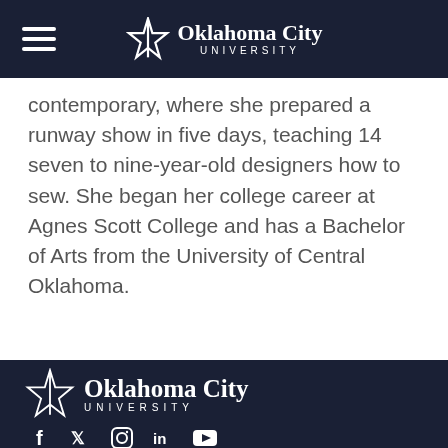Oklahoma City University
contemporary, where she prepared a runway show in five days, teaching 14 seven to nine-year-old designers how to sew. She began her college career at Agnes Scott College and has a Bachelor of Arts from the University of Central Oklahoma.
[Figure (logo): Oklahoma City University logo in footer]
[Figure (other): Social media icons: Facebook, Twitter, Instagram, LinkedIn, YouTube]